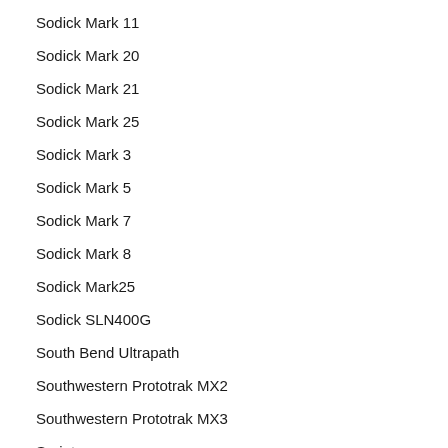Sodick Mark 11
Sodick Mark 20
Sodick Mark 21
Sodick Mark 25
Sodick Mark 3
Sodick Mark 5
Sodick Mark 7
Sodick Mark 8
Sodick Mark25
Sodick SLN400G
South Bend Ultrapath
Southwestern Prototrak MX2
Southwestern Prototrak MX3
Sprint